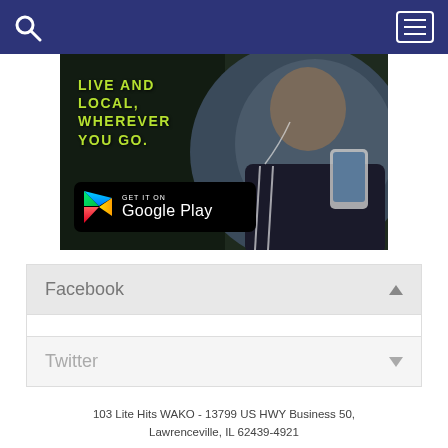[Figure (screenshot): Navigation bar with dark blue background, search icon on left, hamburger menu button on right]
[Figure (photo): Advertisement image showing a young woman with earbuds holding a phone, with text 'LIVE AND LOCAL, WHEREVER YOU GO.' and a Google Play download button]
Facebook
Twitter
103 Lite Hits WAKO - 13799 US HWY Business 50, Lawrenceville, IL 62439-4921